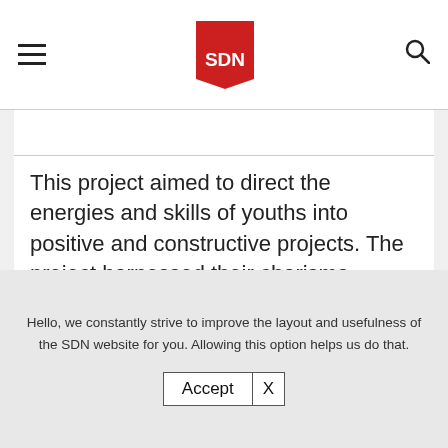[Figure (logo): SDN logo - red speech bubble / pennant shape with white text 'SDN']
This project aimed to direct the energies and skills of youths into positive and constructive projects. The project harnessed their charisma, leadership and management skills and enabled them to become peace
Hello, we constantly strive to improve the layout and usefulness of the SDN website for you. Allowing this option helps us do that.
Accept X